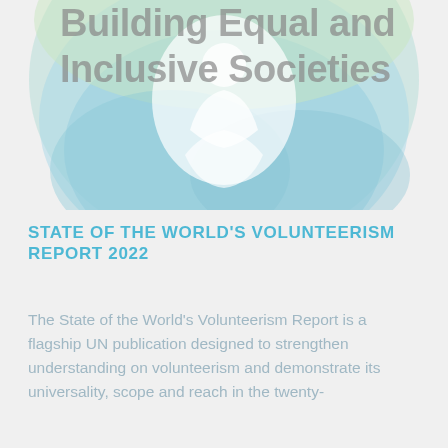[Figure (illustration): Decorative cover illustration with light teal and green gradient abstract shapes forming a circular emblem. White silhouette of figures visible in the center. Partial text visible at top reading 'Building Equal and Inclusive Societies' in bold gray lettering.]
STATE OF THE WORLD'S VOLUNTEERISM REPORT 2022
The State of the World's Volunteerism Report is a flagship UN publication designed to strengthen understanding on volunteerism and demonstrate its universality, scope and reach in the twenty-